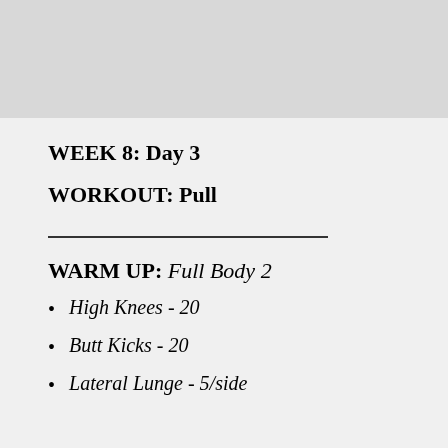[Figure (photo): Light gray image placeholder at the top of the page]
WEEK 8: Day 3
WORKOUT: Pull
WARM UP: Full Body 2
High Knees - 20
Butt Kicks - 20
Lateral Lunge - 5/side